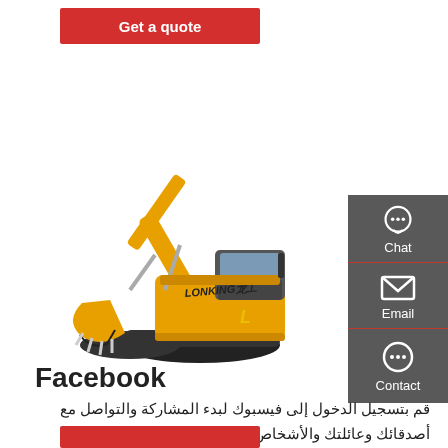Get a quote
[Figure (photo): Yellow Lonking excavator/crawler hydraulic excavator on white background, side view showing boom, arm, bucket, tracks, and cab.]
Chat
Email
Contact
Facebook
قم بتسجيل الدخول إلى فيسبوك لبدء المشاركة والتواصل مع أصدقائك وعائلتك والأشخاص الذين تعرفهم.